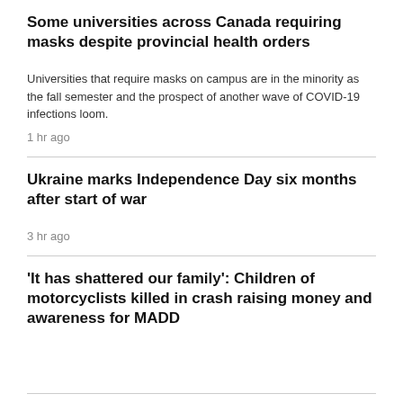Some universities across Canada requiring masks despite provincial health orders
Universities that require masks on campus are in the minority as the fall semester and the prospect of another wave of COVID-19 infections loom.
1 hr ago
Ukraine marks Independence Day six months after start of war
3 hr ago
'It has shattered our family': Children of motorcyclists killed in crash raising money and awareness for MADD
VANCOUVER